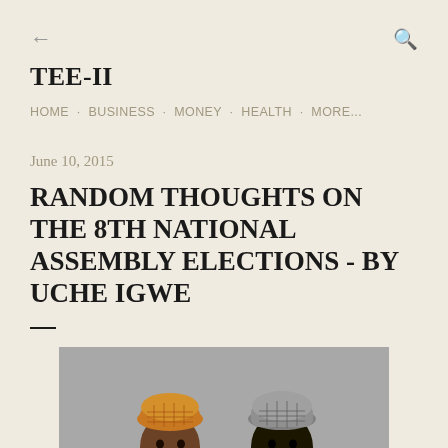← (back) TEE-II | HOME · BUSINESS · MONEY · HEALTH · MORE...
June 10, 2015
RANDOM THOUGHTS ON THE 8TH NATIONAL ASSEMBLY ELECTIONS - BY UCHE IGWE
[Figure (photo): Two men wearing traditional Nigerian caps (one orange/brown, one grey), photographed from shoulders up against a grey background.]